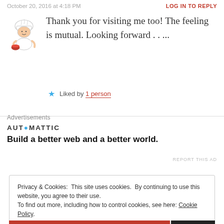October 20, 2016 at 4:18 PM
LOG IN TO REPLY
[Figure (illustration): Chef/cook cartoon avatar illustration]
Thank you for visiting me too! The feeling is mutual. Looking forward . . ...
★ Liked by 1 person
Advertisements
AUTOMATTIC
Build a better web and a better world.
REPORT THIS AD
Privacy & Cookies: This site uses cookies. By continuing to use this website, you agree to their use.
To find out more, including how to control cookies, see here: Cookie Policy
Close and accept